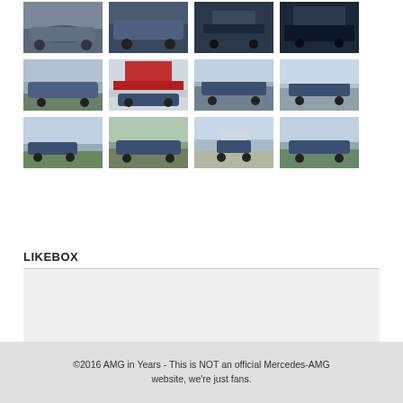[Figure (photo): Grid of car photos showing blue Mercedes-AMG vehicles in various outdoor settings. Row 1 (partial, top): 4 thumbnails of cars/interiors. Row 2: 4 thumbnails including Circuit de Spa sign. Row 3: 4 thumbnails of blue AMG cars on roads.]
LIKEBOX
©2016 AMG in Years - This is NOT an official Mercedes-AMG website, we're just fans.